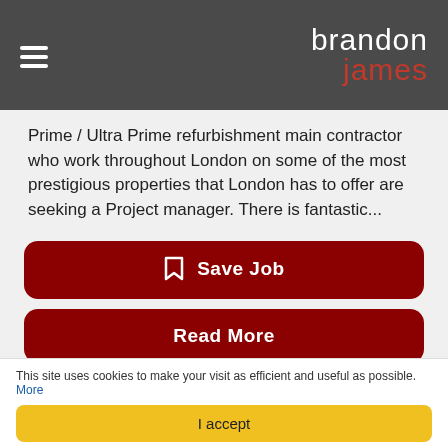[Figure (logo): Brandon James logo with hamburger menu icon on dark grey header bar]
Prime / Ultra Prime refurbishment main contractor who work throughout London on some of the most prestigious properties that London has to offer are seeking a Project manager. There is fantastic...
Save Job
Read More
Apply Now
This site uses cookies to make your visit as efficient and useful as possible. More
I accept